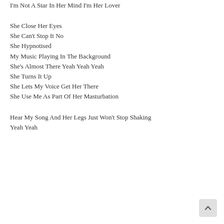I'm Not A Star In Her Mind I'm Her Lover
She Close Her Eyes
She Can't Stop It No
She Hypnotised
My Music Playing In The Background
She's Almost There Yeah Yeah Yeah
She Turns It Up
She Lets My Voice Get Her There
She Use Me As Part Of Her Masturbation
Hear My Song And Her Legs Just Won't Stop Shaking Yeah Yeah